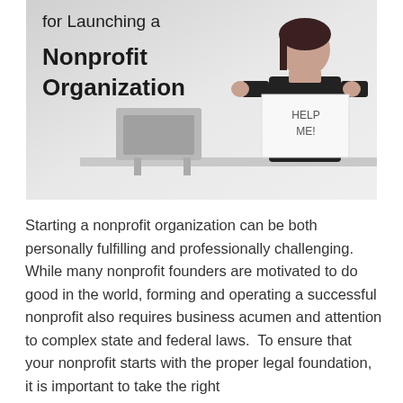[Figure (photo): A woman sitting at a desk holding a sign that reads 'HELP ME!' with text overlay showing the title 'for Launching a Nonprofit Organization'. There is a laptop/chair visible on the desk.]
for Launching a Nonprofit Organization
Starting a nonprofit organization can be both personally fulfilling and professionally challenging.  While many nonprofit founders are motivated to do good in the world, forming and operating a successful nonprofit also requires business acumen and attention to complex state and federal laws.  To ensure that your nonprofit starts with the proper legal foundation, it is important to take the right